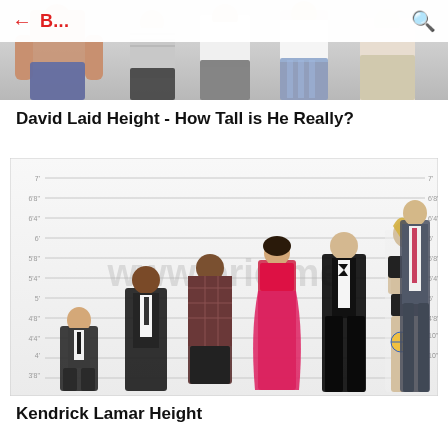[Figure (photo): Top banner showing multiple fitness/bodybuilding male figures in athletic wear, partially visible from waist down]
B... (navigation bar with back arrow and search icon)
David Laid Height - How Tall is He Really?
[Figure (infographic): Height comparison chart with horizontal ruled lines showing height measurements. Multiple celebrities standing at various heights against a ruler background with watermark www.brie.me. Figures include Peter Dinklage, Kevin Hart, Kendrick Lamar, Zendaya, Brad Pitt, a tall female athlete, and a tall male in a suit.]
Kendrick Lamar Height